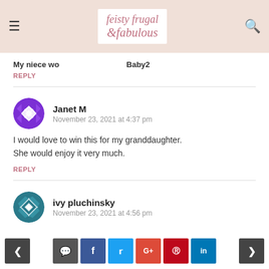feisty frugal fabulous
My niece wo … Baby2
REPLY
Janet M
November 23, 2021 at 4:37 pm
I would love to win this for my granddaughter. She would enjoy it very much.
REPLY
ivy pluchinsky
November 23, 2021 at 4:56 pm
< [comment] [f] [t] [g+] [pinterest] [in] >